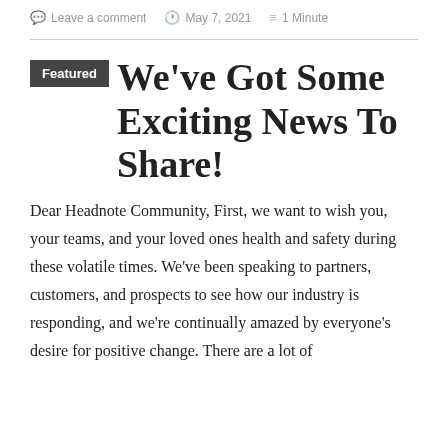Leave a comment   May 7, 2021   1 Minute
We've Got Some Exciting News To Share!
Dear Headnote Community, First, we want to wish you, your teams, and your loved ones health and safety during these volatile times. We've been speaking to partners, customers, and prospects to see how our industry is responding, and we're continually amazed by everyone's desire for positive change. There are a lot of